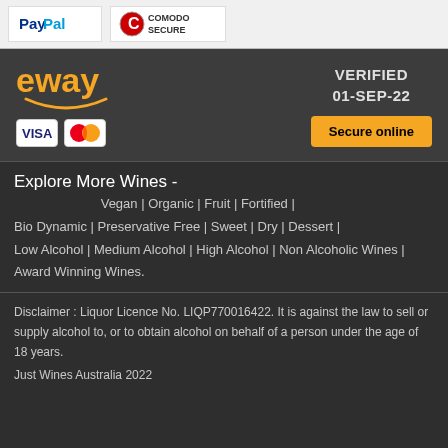[Figure (logo): PayPal logo]
[Figure (logo): Comodo Secure logo]
[Figure (logo): eway payment gateway badge with VERIFIED 01-SEP-22, Visa and Mastercard icons, and Secure online button]
Explore More Wines - Vegan | Organic | Fruit | Fortified | Bio Dynamic | Preservative Free | Sweet | Dry | Dessert | Low Alcohol | Medium Alcohol | High Alcohol | Non Alcoholic Wines | Award Winning Wines.
Disclaimer : Liquor Licence No. LIQP770016422. It is against the law to sell or supply alcohol to, or to obtain alcohol on behalf of a person under the age of 18 years.
Just Wines Australia 2022